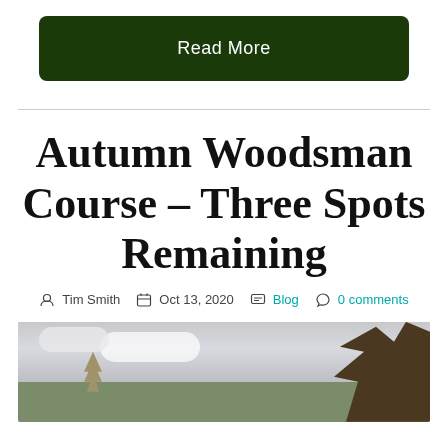Read More
Autumn Woodsman Course – Three Spots Remaining
Tim Smith  Oct 13, 2020  Blog  0 comments
[Figure (photo): Outdoor autumn landscape with cloudy sky, bare trees on right side, and field in foreground]